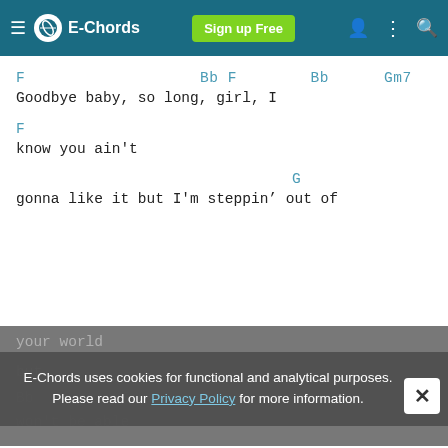E-Chords | Sign up Free
F                   Bb F        Bb      Gm7
Goodbye baby, so long, girl, I

F
know you ain't

                              G
gonna like it but I'm steppin’ out of
your world

but

Bb          F
won't be able
E-Chords uses cookies for functional and analytical purposes. Please read our Privacy Policy for more information.